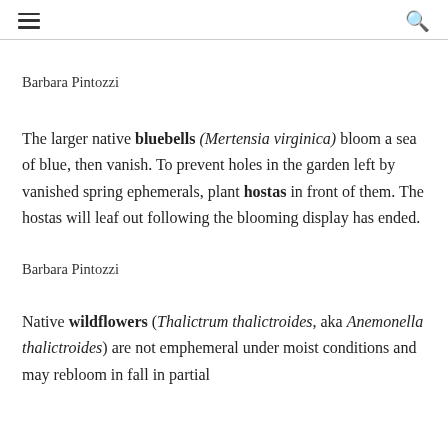[hamburger menu] [search icon]
Barbara Pintozzi
The larger native bluebells (Mertensia virginica) bloom a sea of blue, then vanish. To prevent holes in the garden left by vanished spring ephemerals, plant hostas in front of them. The hostas will leaf out following the blooming display has ended.
Barbara Pintozzi
Native wildflowers (Thalictrum thalictroides, aka Anemonella thalictroides) are not emphemeral under moist conditions and may rebloom in fall in partial